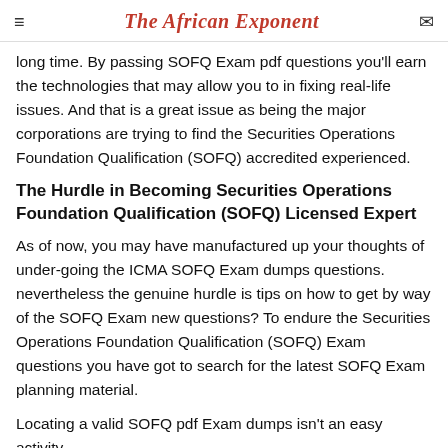The African Exponent
long time. By passing SOFQ Exam pdf questions you'll earn the technologies that may allow you to in fixing real-life issues. And that is a great issue as being the major corporations are trying to find the Securities Operations Foundation Qualification (SOFQ) accredited experienced.
The Hurdle in Becoming Securities Operations Foundation Qualification (SOFQ) Licensed Expert
As of now, you may have manufactured up your thoughts of under-going the ICMA SOFQ Exam dumps questions. nevertheless the genuine hurdle is tips on how to get by way of the SOFQ Exam new questions? To endure the Securities Operations Foundation Qualification (SOFQ) Exam questions you have got to search for the latest SOFQ Exam planning material.
Locating a valid SOFQ pdf Exam dumps isn't an easy activity.